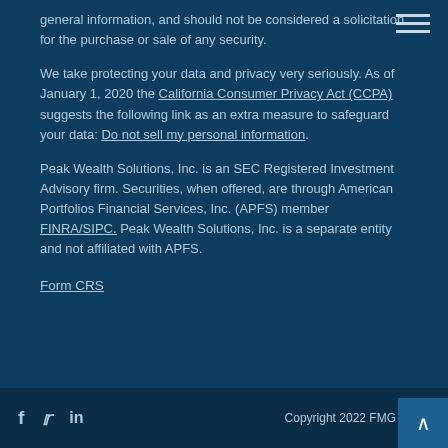general information, and should not be considered a solicitation for the purchase or sale of any security.
We take protecting your data and privacy very seriously. As of January 1, 2020 the California Consumer Privacy Act (CCPA) suggests the following link as an extra measure to safeguard your data: Do not sell my personal information.
Peak Wealth Solutions, Inc. is an SEC Registered Investment Advisory firm. Securities, when offered, are through American Portfolios Financial Services, Inc. (APFS) member FINRA/SIPC. Peak Wealth Solutions, Inc. is a separate entity and not affiliated with APFS.
Form CRS
Copyright 2022 FMG Suite.